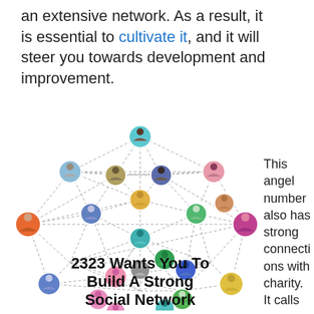an extensive network. As a result, it is essential to cultivate it, and it will steer you towards development and improvement.
[Figure (network-graph): A network graph showing many avatar icons (people) connected by dashed lines in a web pattern, with bold text overlay reading '2323 Wants You To Build A Strong Social Network']
This angel number also has strong connections with charity. It calls